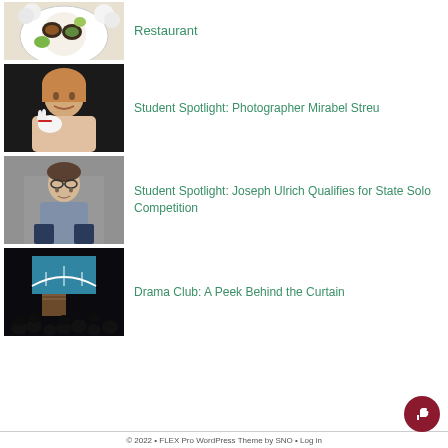[Figure (photo): Top portion of food photo (sushi/avocado dish) partially cropped at top]
Restaurant
[Figure (photo): Young woman with reddish-blonde hair smiling, holding a small white animal]
Student Spotlight: Photographer Mirabel Streu
[Figure (photo): Young person with glasses wearing a grey button-up shirt sitting in front of a grey background]
Student Spotlight: Joseph Ulrich Qualifies for State Solo Competition
[Figure (photo): Dark auditorium with people seated watching a screen showing a bridge image]
Drama Club: A Peek Behind the Curtain
© 2022 • FLEX Pro WordPress Theme by SNO • Log in